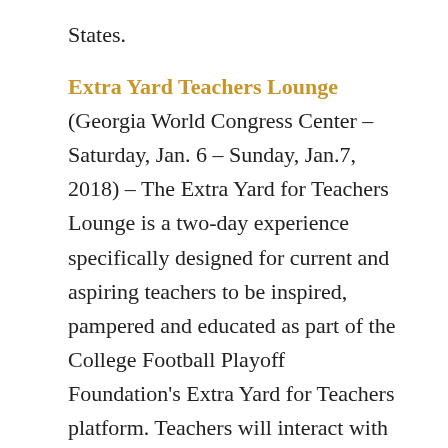States.
Extra Yard Teachers Lounge (Georgia World Congress Center – Saturday, Jan. 6 – Sunday, Jan.7, 2018) – The Extra Yard for Teachers Lounge is a two-day experience specifically designed for current and aspiring teachers to be inspired, pampered and educated as part of the College Football Playoff Foundation's Extra Yard for Teachers platform. Teachers will interact with special guests from both the educational and entertainment communities and receive special prizes and giveaways throughout the event.
“We’re very proud in the fact that our concentrated area of downtown, where all the venues and all the hotels are within walking distance of Mercedes-Benz Stadium,” said Corso.